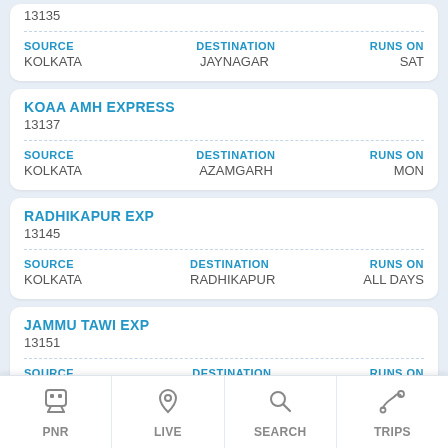13135 | SOURCE: KOLKATA | DESTINATION: JAYNAGAR | RUNS ON: SAT
KOAA AMH EXPRESS | 13137 | SOURCE: KOLKATA | DESTINATION: AZAMGARH | RUNS ON: MON
RADHIKAPUR EXP | 13145 | SOURCE: KOLKATA | DESTINATION: RADHIKAPUR | RUNS ON: ALL DAYS
JAMMU TAWI EXP | 13151 | SOURCE | DESTINATION | RUNS ON
PNR | LIVE | SEARCH | TRIPS